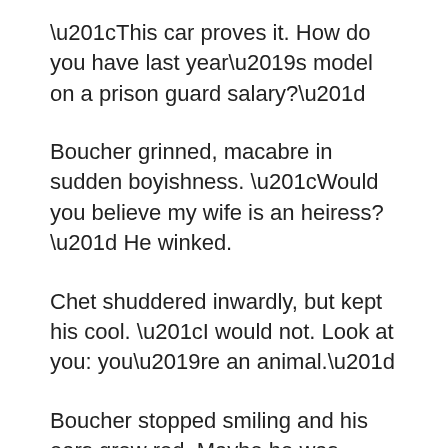“This car proves it. How do you have last year’s model on a prison guard salary?”
Boucher grinned, macabre in sudden boyishness. “Would you believe my wife is an heiress?” He winked.
Chet shuddered inwardly, but kept his cool. “I would not. Look at you: you’re an animal.”
Boucher stopped smiling and his ears grew red. Maybe he was gonna slug Chet?
Instead Boucher said, “Head actually sawed off